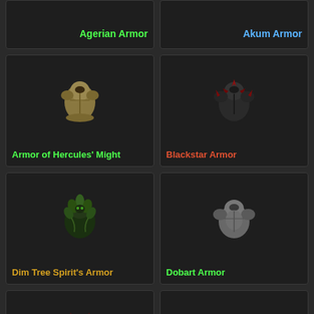Agerian Armor
Akum Armor
[Figure (illustration): Armor of Hercules' Might item icon - tan/olive tunic]
Armor of Hercules' Might
[Figure (illustration): Blackstar Armor item icon - dark spiky armor with red glow]
Blackstar Armor
[Figure (illustration): Dim Tree Spirit's Armor item icon - green leafy/vine armor]
Dim Tree Spirit's Armor
[Figure (illustration): Dobart Armor item icon - grey/silver armor chest]
Dobart Armor
[Figure (illustration): Fallen God's Armor item icon - dark red demonic armor]
Fallen God's Armor
[Figure (illustration): Golden Eagle's Armor (Temp) item icon - dark armored chest]
Golden Eagle's Armor (Temp)